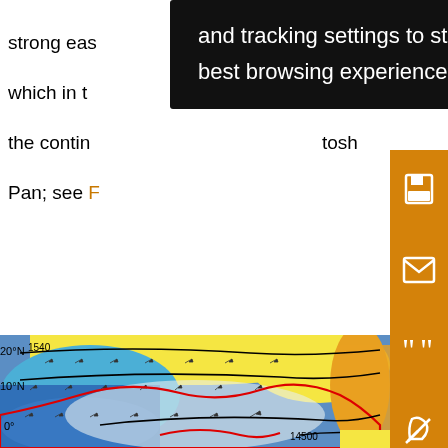strong eas… Africa, which in t… over the contin… tosh Pan; see F…
and tracking settings to store information that help give you the very best browsing experience.
[Figure (screenshot): Black tooltip popup overlay showing cookie/tracking settings message: 'and tracking settings to store information that help give you the very best browsing experience.']
[Figure (map): Meteorological map showing geopotential height contours at hPa level over Africa/tropical region, with colored shading (blue, yellow, red-orange) indicating height anomalies, wind vectors (arrows), red contour lines, and black contour lines. Latitude labels show 20N, 10N, 0. Contour values 1540, 1540, 1500 visible.]
kg
geo
heig
hPa
m)